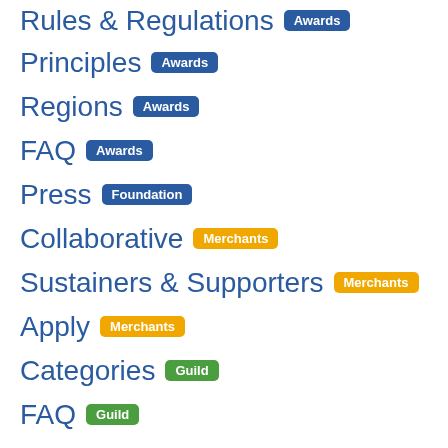Rules & Regulations Awards
Principles Awards
Regions Awards
FAQ Awards
Press Foundation
Collaborative Merchants
Sustainers & Supporters Merchants
Apply Merchants
Categories Guild
FAQ Guild